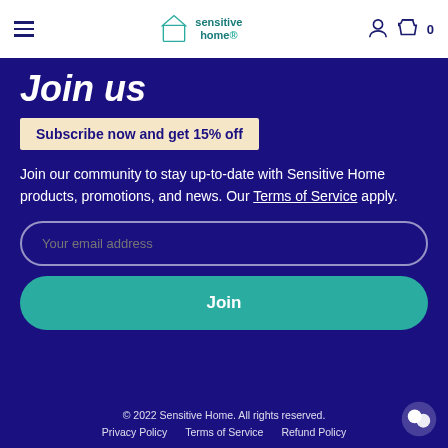sensitive home. [navigation header with hamburger menu, logo, user icon, and cart with 0 items]
Join us
Subscribe now and get 15% off
Join our community to stay up-to-date with Sensitive Home products, promotions, and news. Our Terms of Service apply.
Your email address [input field]
Join [button]
© 2022 Sensitive Home. All rights reserved. Privacy Policy  Terms of Service  Refund Policy